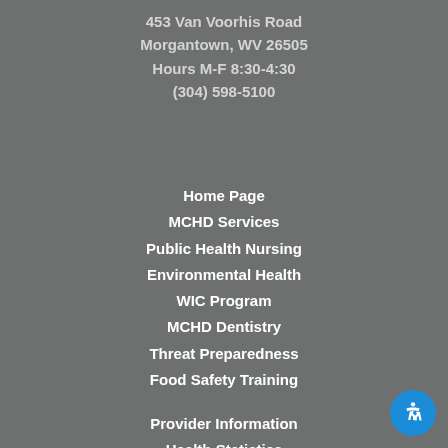453 Van Voorhis Road
Morgantown, WV 26505
Hours M-F 8:30-4:30
(304) 598-5100
Home Page
MCHD Services
Public Health Nursing
Environmental Health
WIC Program
MCHD Dentistry
Threat Preparedness
Food Safety Training
Provider Information
Health Statistics
Contact Us
Location/Directions